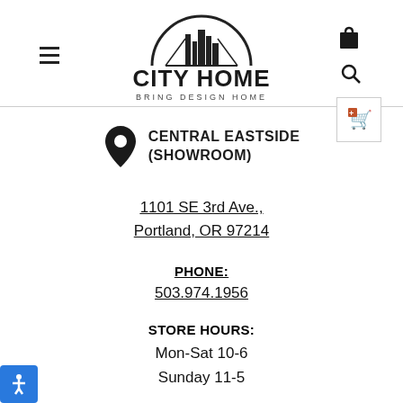[Figure (logo): City Home logo with skyline graphic and text 'CITY HOME - BRING DESIGN HOME']
CENTRAL EASTSIDE (SHOWROOM)
1101 SE 3rd Ave., Portland, OR 97214
PHONE: 503.974.1956
STORE HOURS: Mon-Sat 10-6 Sunday 11-5